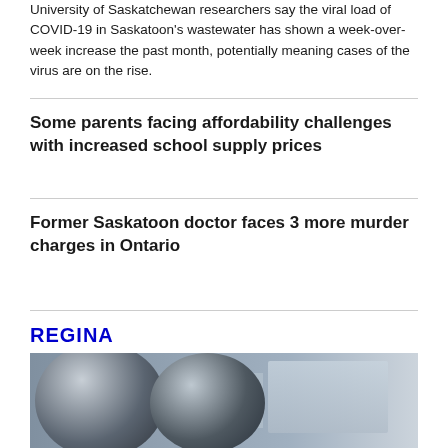University of Saskatchewan researchers say the viral load of COVID-19 in Saskatoon's wastewater has shown a week-over-week increase the past month, potentially meaning cases of the virus are on the rise.
Some parents facing affordability challenges with increased school supply prices
Former Saskatoon doctor faces 3 more murder charges in Ontario
REGINA
[Figure (photo): Outdoor photograph showing large dark metallic spherical sculptures in foreground with buildings and trees visible in the background]